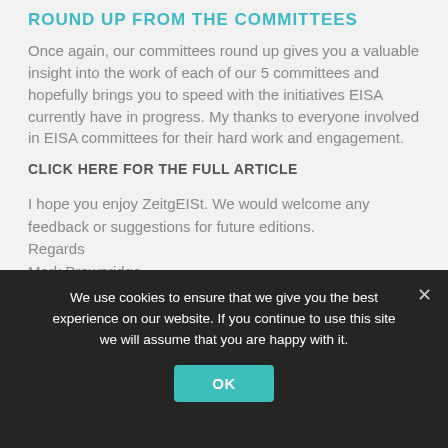ROUND UP FROM THE COMMITTEES
Once again, our committees round up gives you a valuable insight into the work of each of our 5 committees and hopefully brings you to speed with the initiatives EISA currently have in progress. My thanks to everyone involved in EISA committees for their hard work and engagement.
CLICK HERE FOR THE FULL ARTICLE
I hope you enjoy ZeitgEISt. We would welcome any feedback or suggestions for future editions.
Regards
Mark Brownridge
Director General, EISA
We use cookies to ensure that we give you the best experience on our website. If you continue to use this site we will assume that you are happy with it.
OK